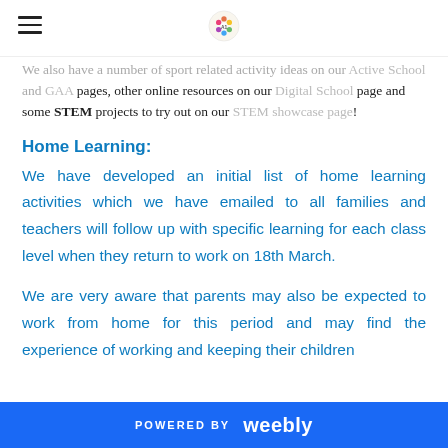[Logo and hamburger menu]
We also have a number of sport related activity ideas on our Active School and GAA pages, other online resources on our Digital School page and some STEM projects to try out on our STEM showcase page!
Home Learning:
We have developed an initial list of home learning activities which we have emailed to all families and teachers will follow up with specific learning for each class level when they return to work on 18th March.
We are very aware that parents may also be expected to work from home for this period and may find the experience of working and keeping their children
POWERED BY weebly